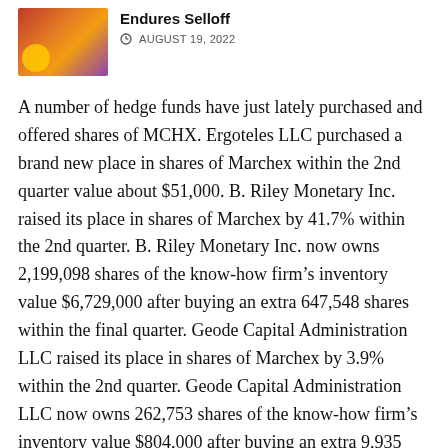[Figure (photo): Thumbnail image showing gold coins and a red/purple background, likely related to cryptocurrency or finance topic.]
Endures Selloff
© AUGUST 19, 2022
A number of hedge funds have just lately purchased and offered shares of MCHX. Ergoteles LLC purchased a brand new place in shares of Marchex within the 2nd quarter value about $51,000. B. Riley Monetary Inc. raised its place in shares of Marchex by 41.7% within the 2nd quarter. B. Riley Monetary Inc. now owns 2,199,098 shares of the know-how firm’s inventory value $6,729,000 after buying an extra 647,548 shares within the final quarter. Geode Capital Administration LLC raised its place in shares of Marchex by 3.9% within the 2nd quarter. Geode Capital Administration LLC now owns 262,753 shares of the know-how firm’s inventory value $804,000 after buying an extra 9,935 shares within the final quarter. Edenbrook Capital LLC raised its place in shares of Marchex by 8.7% within the 2nd